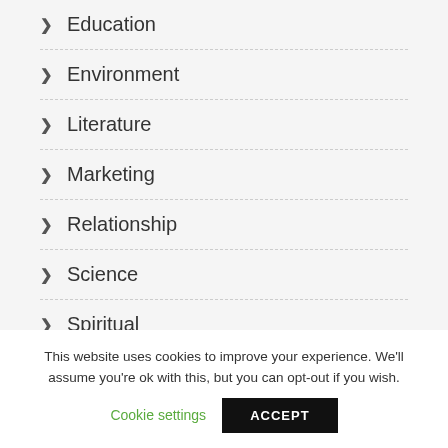Education
Environment
Literature
Marketing
Relationship
Science
Spiritual
Technology
This website uses cookies to improve your experience. We'll assume you're ok with this, but you can opt-out if you wish.
Cookie settings
ACCEPT